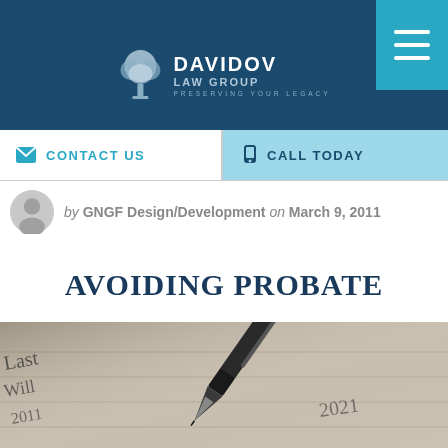Davidov Law Group — Preserving Your Legacy
CONTACT US
CALL TODAY
by GNGF Design/Development on March 9, 2011
AVOIDING PROBATE
[Figure (photo): Close-up photo of a fountain pen writing cursive text on lined paper]